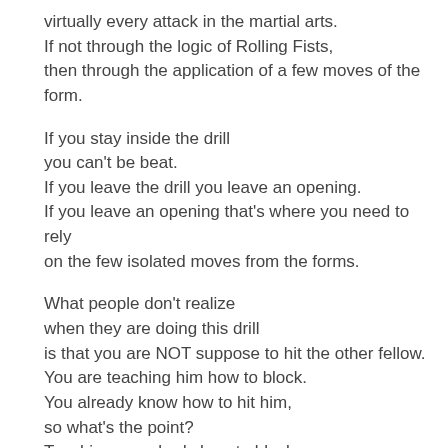virtually every attack in the martial arts.
If not through the logic of Rolling Fists,
then through the application of a few moves of the form.
If you stay inside the drill
you can't be beat.
If you leave the drill you leave an opening.
If you leave an opening that's where you need to rely
on the few isolated moves from the forms.
What people don't realize
when they are doing this drill
is that you are NOT suppose to hit the other fellow.
You are teaching him how to block.
You already know how to hit him,
so what's the point?
Teaching somebody how to block,
or handle an attack intuitively…
that's the point.
Let me ask you a question now.
If you keep hitting somebody,
will they trust you?
No.